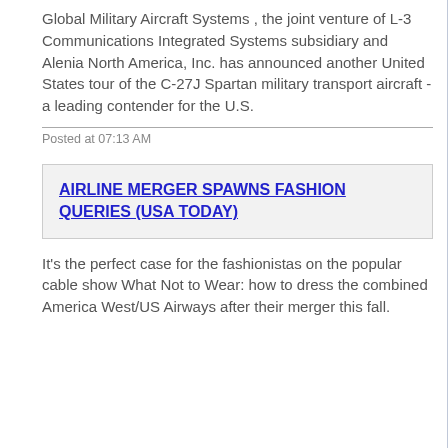Global Military Aircraft Systems , the joint venture of L-3 Communications Integrated Systems subsidiary and Alenia North America, Inc. has announced another United States tour of the C-27J Spartan military transport aircraft - a leading contender for the U.S.
Posted at 07:13 AM
AIRLINE MERGER SPAWNS FASHION QUERIES (USA TODAY)
It's the perfect case for the fashionistas on the popular cable show What Not to Wear: how to dress the combined America West/US Airways after their merger this fall.